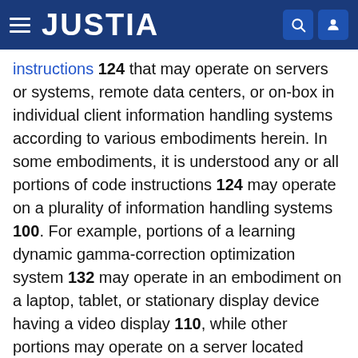JUSTIA
instructions 124 that may operate on servers or systems, remote data centers, or on-box in individual client information handling systems according to various embodiments herein. In some embodiments, it is understood any or all portions of code instructions 124 may operate on a plurality of information handling systems 100. For example, portions of a learning dynamic gamma-correction optimization system 132 may operate in an embodiment on a laptop, tablet, or stationary display device having a video display 110, while other portions may operate on a server located remotely from such a laptop, tablet, or station display device. In other embodiments, the learning dynamic gamma-correction optimization system 132 may operate entirely within the laptop, tablet, or stationary display device. In some embodiments the video display